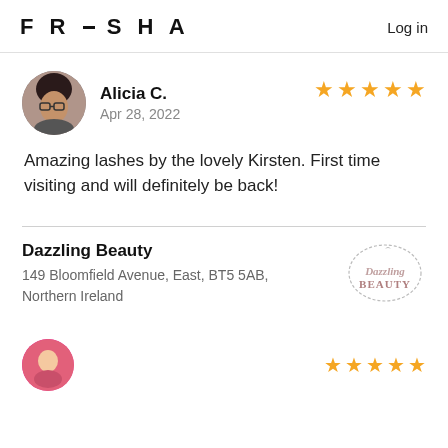FRESHA  Log in
Alicia C.
Apr 28, 2022
Amazing lashes by the lovely Kirsten. First time visiting and will definitely be back!
Dazzling Beauty
149 Bloomfield Avenue, East, BT5 5AB, Northern Ireland